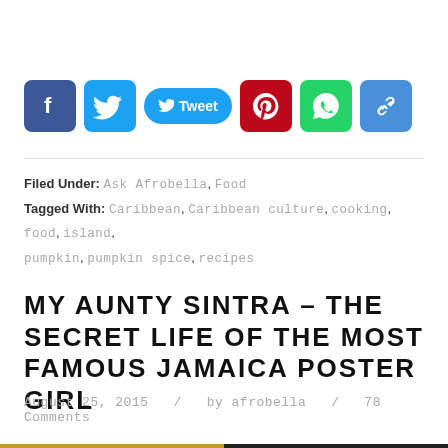[Figure (infographic): Social sharing bar with Facebook, Twitter (Tweet button), Pinterest, WhatsApp, and link icons]
Filed Under: Ask Afrobella, Food
Tagged With: Caribbean, Caribbean culture, cooking, food, island, pumpkin, pumpkin spice, recipes
MY AUNTY SINTRA – THE SECRET LIFE OF THE MOST FAMOUS JAMAICA POSTER GIRL
August 25, 2015  /  by afrobella  /  78 Comments